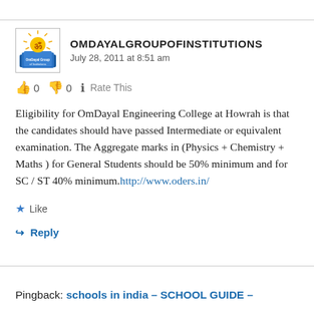[Figure (logo): OmDayal Group of Institutions logo — sun with Om symbol above an open book, with organization name text]
OMDAYALGROUPOFINSTITUTIONS
July 28, 2011 at 8:51 am
👍 0 👎 0 ℹ Rate This
Eligibility for OmDayal Engineering College at Howrah is that the candidates should have passed Intermediate or equivalent examination. The Aggregate marks in (Physics + Chemistry + Maths ) for General Students should be 50% minimum and for SC / ST 40% minimum. http://www.oders.in/
★ Like
↪ Reply
Pingback: schools in india – SCHOOL GUIDE –